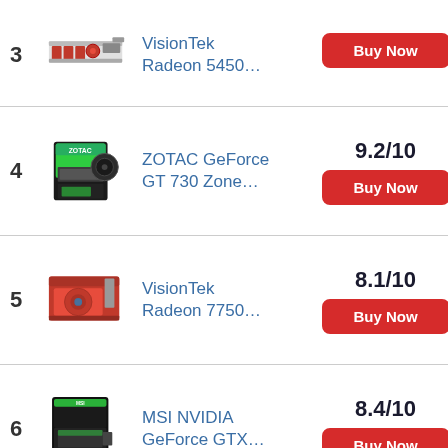3 VisionTek Radeon 5450...
4 ZOTAC GeForce GT 730 Zone... 9.2/10
5 VisionTek Radeon 7750... 8.1/10
6 MSI NVIDIA GeForce GTX... 8.4/10